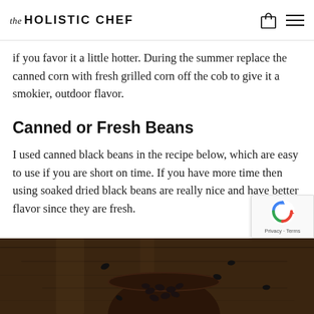the HOLISTIC CHEF
if you favor it a little hotter. During the summer replace the canned corn with fresh grilled corn off the cob to give it a smokier, outdoor flavor.
Canned or Fresh Beans
I used canned black beans in the recipe below, which are easy to use if you are short on time. If you have more time then using soaked dried black beans are really nice and have better flavor since they are fresh.
[Figure (photo): A wooden bowl filled with black beans on a dark wooden surface, with a few black beans scattered around the bowl.]